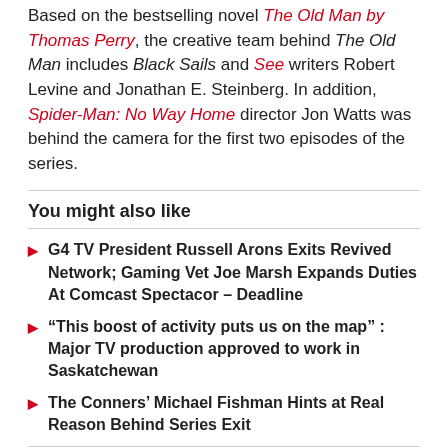Based on the bestselling novel The Old Man by Thomas Perry, the creative team behind The Old Man includes Black Sails and See writers Robert Levine and Jonathan E. Steinberg. In addition, Spider-Man: No Way Home director Jon Watts was behind the camera for the first two episodes of the series.
You might also like
G4 TV President Russell Arons Exits Revived Network; Gaming Vet Joe Marsh Expands Duties At Comcast Spectacor – Deadline
“This boost of activity puts us on the map” : Major TV production approved to work in Saskatchewan
The Conners’ Michael Fishman Hints at Real Reason Behind Series Exit
Here is everything we know about The Old Man